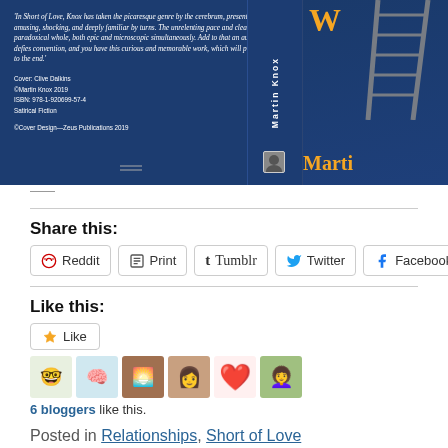[Figure (photo): Book cover of 'Short of Love' by Martin Knox showing the back cover with a quote, ISBN barcode, spine, and partial front cover with gold title text and ladder graphic on a dark blue background.]
Share this:
Reddit   Print   Tumblr   Twitter   Facebook   Link
Like this:
Like
6 bloggers like this.
Posted in Relationships, Short of Love
Tags: Beatles, Commodity, corporate ethics, Engineering, hippies, sat... university